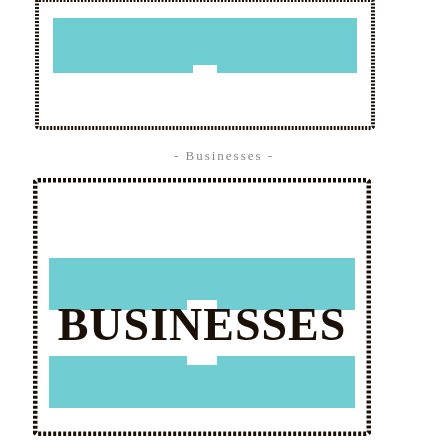[Figure (illustration): Partial view of a decorative label/badge with rough black border, two teal horizontal bars with a downward-pointing notch between them, on white background. Top portion only visible.]
- Businesses -
[Figure (illustration): Decorative label/badge with rough black border. Contains two teal horizontal bars at top and bottom with downward/upward notches. Large serif text 'BUSINESSES' in dark brown/black centered between the bars on white background.]